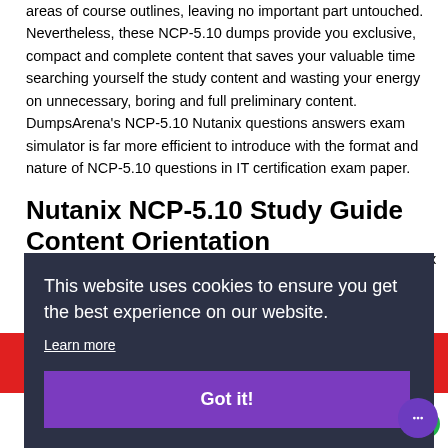areas of course outlines, leaving no important part untouched. Nevertheless, these NCP-5.10 dumps provide you exclusive, compact and complete content that saves your valuable time searching yourself the study content and wasting your energy on unnecessary, boring and full preliminary content. DumpsArena's NCP-5.10 Nutanix questions answers exam simulator is far more efficient to introduce with the format and nature of NCP-5.10 questions in IT certification exam paper.
Nutanix NCP-5.10 Study Guide Content Orientation
To review the content quality and format, free NCP-5.10 Nutanix d... a... ese t...
[Figure (screenshot): Cookie consent banner overlay with dark background. Text reads: 'This website uses cookies to ensure you get the best experience on our website.' with a 'Learn more' link and a purple 'Got it!' button.]
Types of Questions Support
Both NCP-5.10 PDF and Testing Engine have...